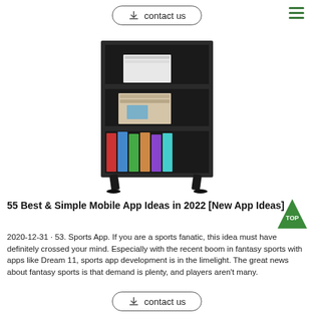contact us
[Figure (photo): A dark espresso colored 3-shelf bookcase with angled legs, containing books and items on each shelf]
55 Best & Simple Mobile App Ideas in 2022 [New App Ideas]
2020-12-31 · 53. Sports App. If you are a sports fanatic, this idea must have definitely crossed your mind. Especially with the recent boom in fantasy sports with apps like Dream 11, sports app development is in the limelight. The great news about fantasy sports is that demand is plenty, and players aren't many.
contact us